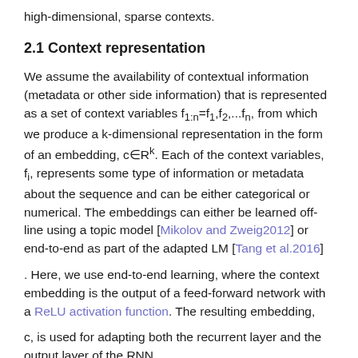high-dimensional, sparse contexts.
2.1 Context representation
We assume the availability of contextual information (metadata or other side information) that is represented as a set of context variables f_{1:n}=f_1,f_2,...f_n, from which we produce a k-dimensional representation in the form of an embedding, c∈R^k. Each of the context variables, f_i, represents some type of information or metadata about the sequence and can be either categorical or numerical. The embeddings can either be learned off-line using a topic model [Mikolov and Zweig2012] or end-to-end as part of the adapted LM [Tang et al.2016]
. Here, we use end-to-end learning, where the context embedding is the output of a feed-forward network with a ReLU activation function. The resulting embedding,
c, is used for adapting both the recurrent layer and the output layer of the RNN.